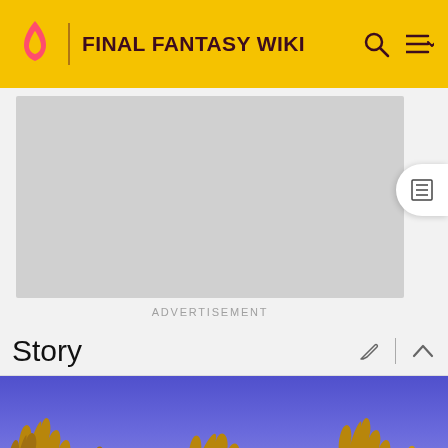FINAL FANTASY WIKI
[Figure (screenshot): Advertisement placeholder area (gray rectangle)]
ADVERTISEMENT
Story
[Figure (screenshot): Final Fantasy game screenshot showing a blue sky background with brown coral/seaweed formations in the foreground and a small green character visible at the bottom left]